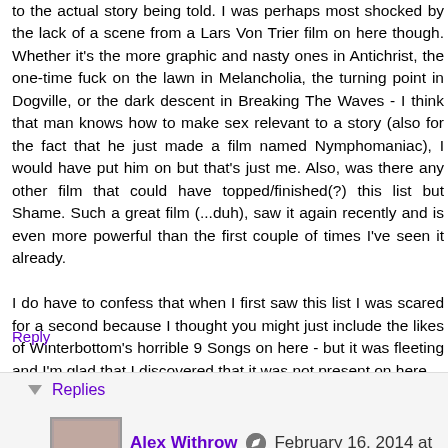to the actual story being told. I was perhaps most shocked by the lack of a scene from a Lars Von Trier film on here though. Whether it's the more graphic and nasty ones in Antichrist, the one-time fuck on the lawn in Melancholia, the turning point in Dogville, or the dark descent in Breaking The Waves - I think that man knows how to make sex relevant to a story (also for the fact that he just made a film named Nymphomaniac), I would have put him on but that's just me. Also, was there any other film that could have topped/finished(?) this list but Shame. Such a great film (...duh), saw it again recently and is even more powerful than the first couple of times I've seen it already.
I do have to confess that when I first saw this list I was scared for a second because I thought you might just include the likes of Winterbottom's horrible 9 Songs on here - but it was fleeting and I'm glad that I discovered that it was not present on here.
Reply
Replies
Alex Withrow   February 16, 2014 at 9:27 PM